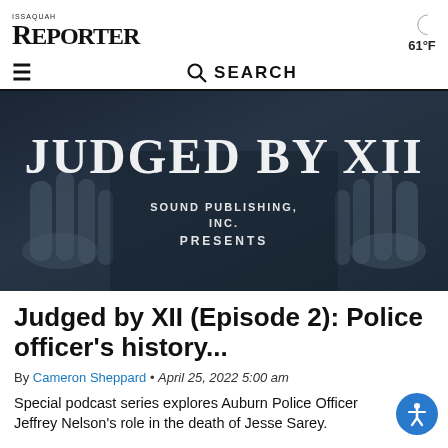ISSAQUAH REPORTER
61°F
☰  🔍 SEARCH
[Figure (photo): Dark moody image of hands pressed flat on a surface with large white serif text reading 'JUDGED BY XII' and beneath it 'SOUND PUBLISHING, INC. PRESENTS']
Judged by XII (Episode 2): Police officer's history...
By Cameron Sheppard • April 25, 2022 5:00 am
Special podcast series explores Auburn Police Officer Jeffrey Nelson's role in the death of Jesse Sarey.